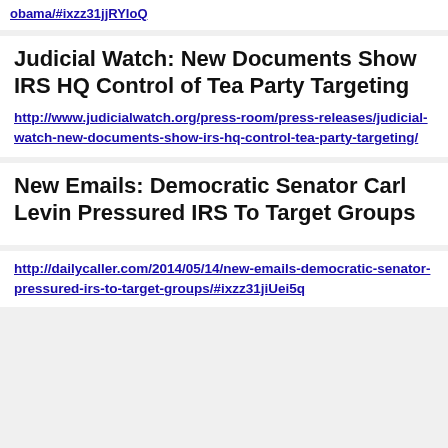obama/#ixzz31jjRYIoQ
Judicial Watch: New Documents Show IRS HQ Control of Tea Party Targeting
http://www.judicialwatch.org/press-room/press-releases/judicial-watch-new-documents-show-irs-hq-control-tea-party-targeting/
New Emails: Democratic Senator Carl Levin Pressured IRS To Target Groups
http://dailycaller.com/2014/05/14/new-emails-democratic-senator-pressured-irs-to-target-groups/#ixzz31jiUei5q